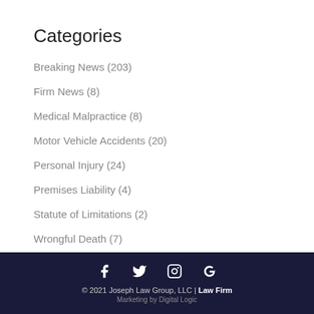Categories
Breaking News (203)
Firm News (8)
Medical Malpractice (8)
Motor Vehicle Accidents (20)
Personal Injury (24)
Premises Liability (4)
Statute of Limitations (2)
Wrongful Death (7)
© 2021 Joseph Law Group, LLC | Law Firm Marketing by Digital Logic